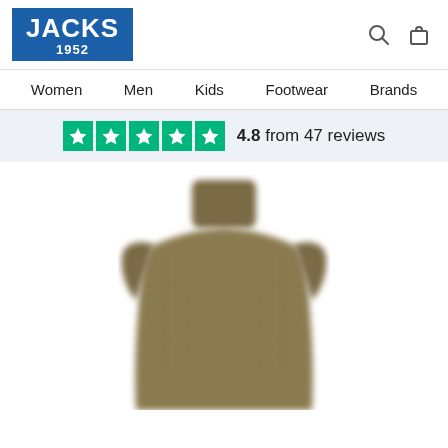[Figure (logo): Jacks 1952 logo - white text on blue background]
Women  Men  Kids  Footwear  Brands
4.8 from 47 reviews
[Figure (photo): Olive/khaki coloured zip-up knit jacket with high collar, shown on invisible mannequin, image slightly blurred]